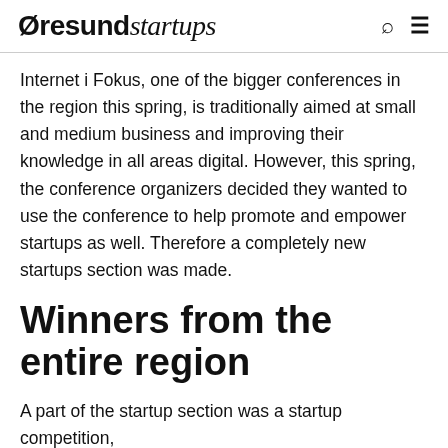Øresundstartups
Internet i Fokus, one of the bigger conferences in the region this spring, is traditionally aimed at small and medium business and improving their knowledge in all areas digital. However, this spring, the conference organizers decided they wanted to use the conference to help promote and empower startups as well. Therefore a completely new startups section was made.
Winners from the entire region
A part of the startup section was a startup competition,